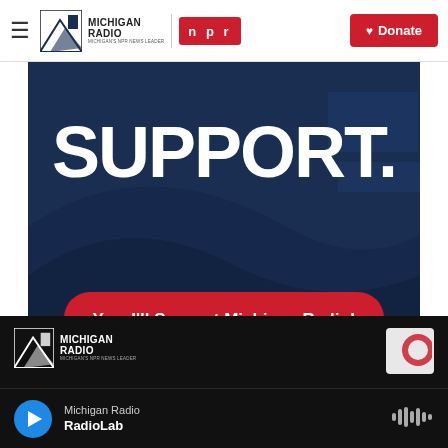Michigan Radio | NPR | Donate
[Figure (illustration): Dark navy blue banner with large white bold text reading SUPPORT. and a red rounded button labeled Yes, I'll Support Michigan Radio!]
Michigan Radio – Michigan's NPR News Leader | Michigan Radio RadioLab